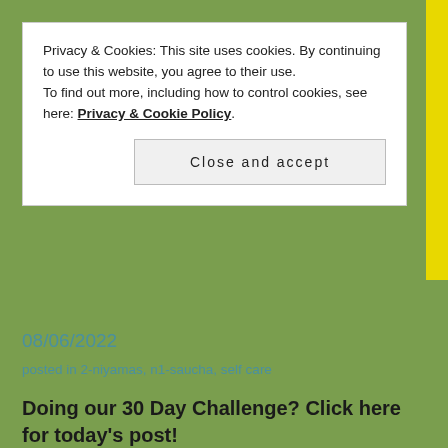Privacy & Cookies: This site uses cookies. By continuing to use this website, you agree to their use.
To find out more, including how to control cookies, see here: Privacy & Cookie Policy
Close and accept
08/06/2022
posted in 2-niyamas, n1-saucha, self care
Doing our 30 Day Challenge? Click here for today's post!
[Figure (photo): Photo of water running from a tap/faucet near a window with trees visible outside. Overlaid text reads 'Caring for your body, mind, a...' A language selector bar at the bottom shows English with a UK flag.]